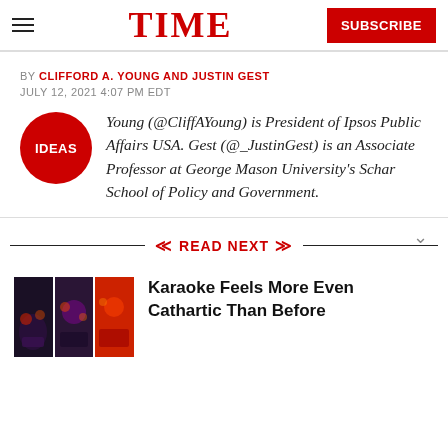TIME | SUBSCRIBE
BY CLIFFORD A. YOUNG AND JUSTIN GEST
JULY 12, 2021 4:07 PM EDT
Young (@CliffAYoung) is President of Ipsos Public Affairs USA. Gest (@_JustinGest) is an Associate Professor at George Mason University's Schar School of Policy and Government.
READ NEXT
Karaoke Feels More Even Cathartic Than Before